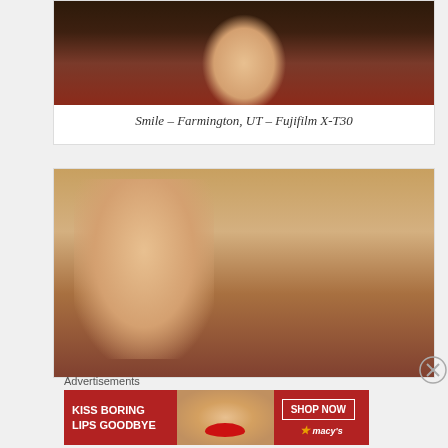[Figure (photo): Close-up photo of a smiling girl with long brown hair, wearing a red/maroon top, looking down at the camera. Cropped to show upper body and face.]
Smile – Farmington, UT – Fujifilm X-T30
[Figure (photo): Photo of a young toddler girl with curly brown hair, looking slightly to the side, outdoors with a car visible in the background. Someone's hand visible near her hair.]
Advertisements
[Figure (photo): Advertisement banner for Macy's with text 'KISS BORING LIPS GOODBYE' and 'SHOP NOW' button with macy's logo, featuring a woman's face with red lips on dark red background.]